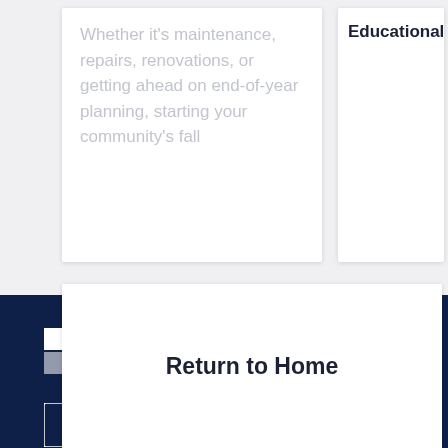Whether it's maintenance, repairs, renovations, or getting ahead on end-of-year planning, starting your community's fall
Educational
Return to Home
[Figure (logo): Associa logo - white text with four-square grid icon on dark navy background]
[Figure (logo): BBB logo on dark navy background]
[Figure (logo): 50 States Best Managed logo on dark navy background]
[Figure (logo): Great Place To work badge on dark navy background]